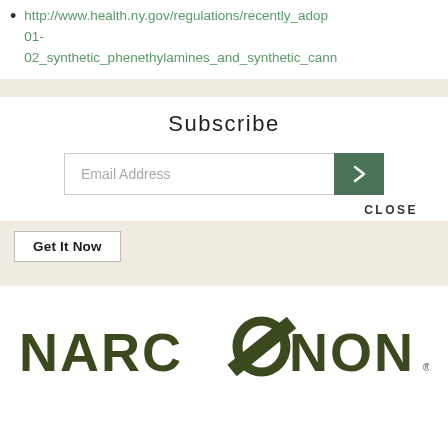http://www.health.ny.gov/regulations/recently_adop...
01-
02_synthetic_phenethylamines_and_synthetic_cann...
Subscribe
Email Address
CLOSE
Get It Now
[Figure (logo): Narconon logo in dark olive green with arc/slash through the letter O]